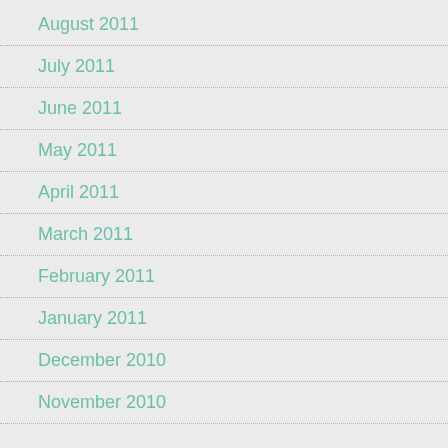August 2011
July 2011
June 2011
May 2011
April 2011
March 2011
February 2011
January 2011
December 2010
November 2010